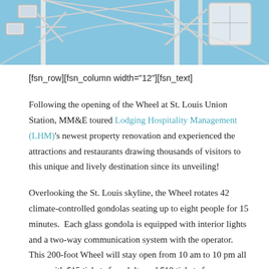[Figure (photo): Partial view of a large Ferris wheel with white gondolas against a blue sky, cropped at the top of the page]
[fsn_row][fsn_column width="12"][fsn_text]
Following the opening of the Wheel at St. Louis Union Station, MM&E toured Lodging Hospitality Management (LHM)'s newest property renovation and experienced the attractions and restaurants drawing thousands of visitors to this unique and lively destination since its unveiling!
Overlooking the St. Louis skyline, the Wheel rotates 42 climate-controlled gondolas seating up to eight people for 15 minutes.  Each glass gondola is equipped with interior lights and a two-way communication system with the operator.  This 200-foot Wheel will stay open from 10 am to 10 pm all year, with $15 tickets for adults and $10 tickets for